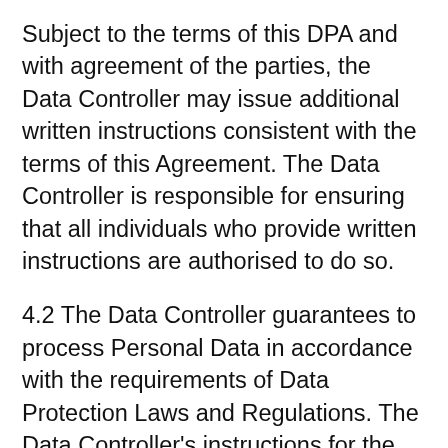Subject to the terms of this DPA and with agreement of the parties, the Data Controller may issue additional written instructions consistent with the terms of this Agreement. The Data Controller is responsible for ensuring that all individuals who provide written instructions are authorised to do so.
4.2 The Data Controller guarantees to process Personal Data in accordance with the requirements of Data Protection Laws and Regulations. The Data Controller's instructions for the processing of Personal Data shall comply with Applicable Law. The Data Controller will have sole